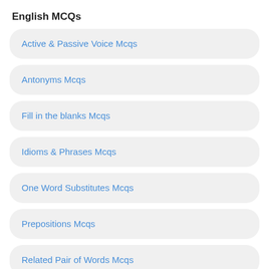English MCQs
Active & Passive Voice Mcqs
Antonyms Mcqs
Fill in the blanks Mcqs
Idioms & Phrases Mcqs
One Word Substitutes Mcqs
Prepositions Mcqs
Related Pair of Words Mcqs
Synonyms Mcqs
Physics Mcqs